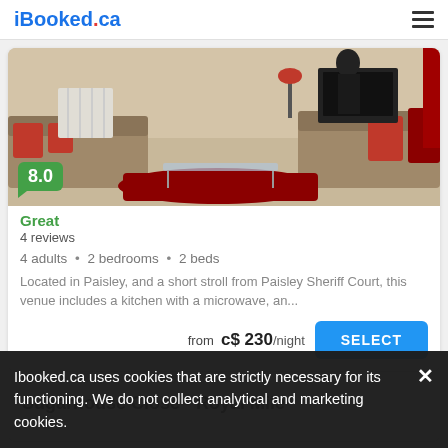iBooked.ca
[Figure (photo): Interior photo of a living room with red cushions, red rug, beige sofas, and a TV stand in the background]
8.0
Great
4 reviews
4 adults • 2 bedrooms • 2 beds
Located in Paisley, and a short stroll from Paisley Sheriff Court, this venue includes a kitchen with a microwave, an...
from c$ 230/night
Sugarhouse Close - Royal Mile
Ibooked.ca uses cookies that are strictly necessary for its functioning. We do not collect analytical and marketing cookies.